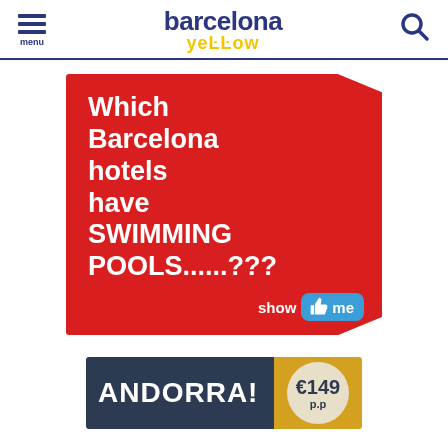menu | barcelona yellow | search
[Figure (infographic): Red banner advertisement asking 'Which Barcelona hotels have SWIMMING POOLS......???' with a 'show me' thumbs-up button]
[Figure (infographic): Andorra advertisement banner with dark navy background showing 'ANDORRA!' in white bold text and a gold section with a circular badge showing '€149 p.p']